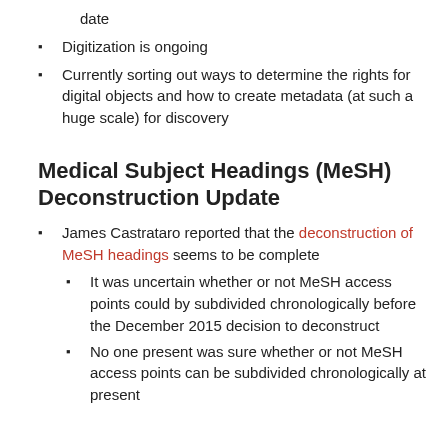date
Digitization is ongoing
Currently sorting out ways to determine the rights for digital objects and how to create metadata (at such a huge scale) for discovery
Medical Subject Headings (MeSH) Deconstruction Update
James Castrataro reported that the deconstruction of MeSH headings seems to be complete
It was uncertain whether or not MeSH access points could by subdivided chronologically before the December 2015 decision to deconstruct
No one present was sure whether or not MeSH access points can be subdivided chronologically at present